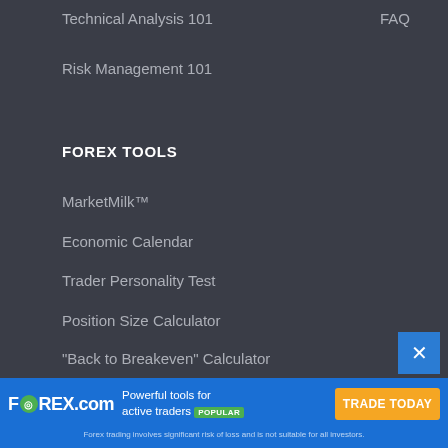Technical Analysis 101
FAQ
Risk Management 101
FOREX TOOLS
MarketMilk™
Economic Calendar
Trader Personality Test
Position Size Calculator
"Back to Breakeven" Calculator
Pip Value Calculator
Pivot Point Calculator
[Figure (screenshot): FOREX.com advertisement banner with logo, tagline 'Powerful tools for active traders POPULAR', and orange 'TRADE TODAY' button. Disclaimer: 'Forex trading involves significant risk of loss and is not suitable for all investors.']